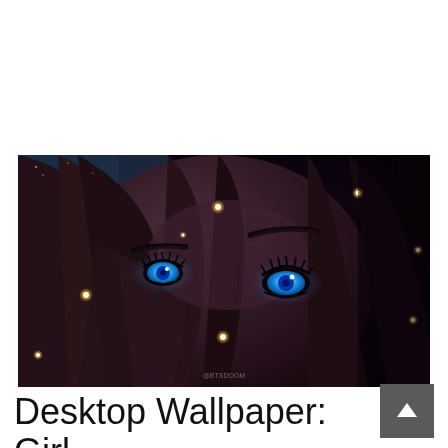[Figure (illustration): Close-up digital illustration of an anime-style girl with glowing blue eyes, dark brown hair partially covering her face, dramatic dark shading with geometric triangle patterns on her face, scattered glowing light particles/fireflies in the background. Watermark '@BTSDOOM' visible at bottom center.]
Desktop Wallpaper: Girl,